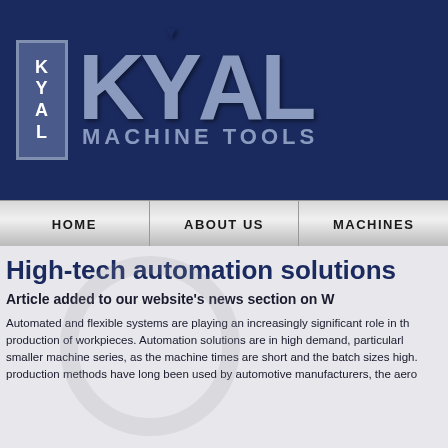[Figure (logo): KYAL Machine Tools logo on dark navy blue background. Large grey KYAL letters with a smaller vertical KYAL block on the left, and MACHINE TOOLS text below.]
[Figure (screenshot): Navigation bar with HOME, ABOUT US, MACHINES buttons in silver/metallic style.]
High-tech automation solutions
Article added to our website's news section on W
Automated and flexible systems are playing an increasingly significant role in the production of workpieces. Automation solutions are in high demand, particularly for smaller machine series, as the machine times are short and the batch sizes high. These production methods have long been used by automotive manufacturers, the aero